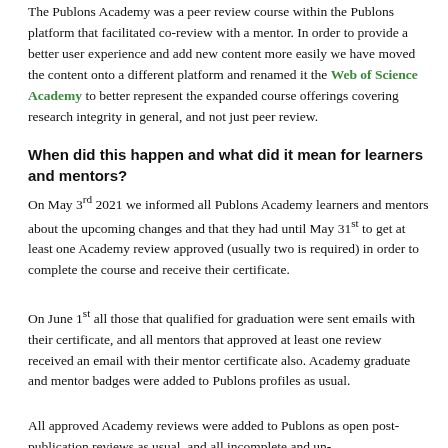The Publons Academy was a peer review course within the Publons platform that facilitated co-review with a mentor. In order to provide a better user experience and add new content more easily we have moved the content onto a different platform and renamed it the Web of Science Academy to better represent the expanded course offerings covering research integrity in general, and not just peer review.
When did this happen and what did it mean for learners and mentors?
On May 3rd 2021 we informed all Publons Academy learners and mentors about the upcoming changes and that they had until May 31st to get at least one Academy review approved (usually two is required) in order to complete the course and receive their certificate.
On June 1st all those that qualified for graduation were sent emails with their certificate, and all mentors that approved at least one review received an email with their mentor certificate also. Academy graduate and mentor badges were added to Publons profiles as usual.
All approved Academy reviews were added to Publons as open post-publication reviews as usual, and all incomplete and un-